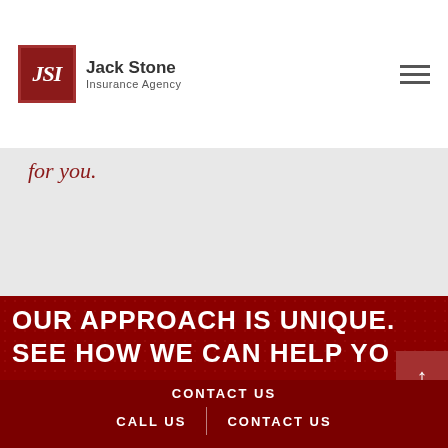[Figure (logo): Jack Stone Insurance Agency logo — red square with white italic JSI letters, followed by company name in dark text]
for you.
OUR APPROACH IS UNIQUE. SEE HOW WE CAN HELP YO
CONTACT US  |  CALL US  |  CONTACT US